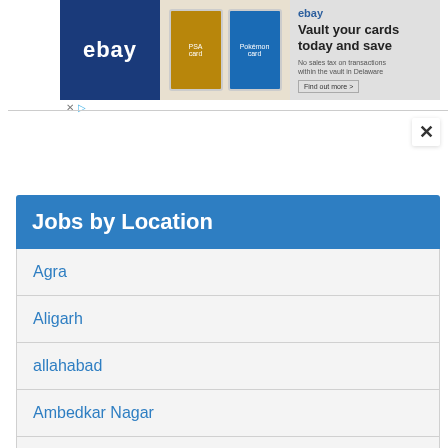[Figure (screenshot): eBay advertisement banner showing trading cards (Pokemon) with text 'Vault your cards today and save']
Jobs by Location
Agra
Aligarh
allahabad
Ambedkar Nagar
Amethi
Amroha